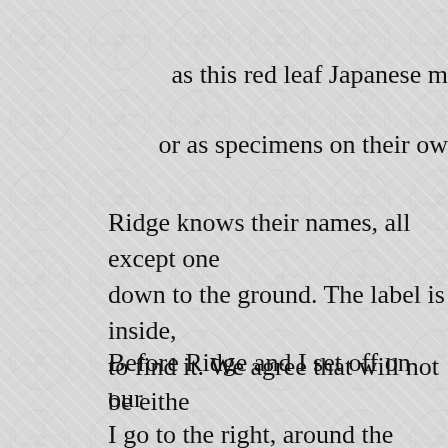as this red leaf Japanese m[aple,]
or as specimens on their ow[n,]
Ridge knows their names, all except one[...] down to the ground. The label is inside,[...] to find it. We agree that will not be eithe[r...]
Before Ridge and I set off on our[...] I go to the right, around the wonde[r...]
There is a wonderful va[riety...] and I'm eager to see it[...]
Looking like a tree lit with red c[...] native to the southern and eastern[...]